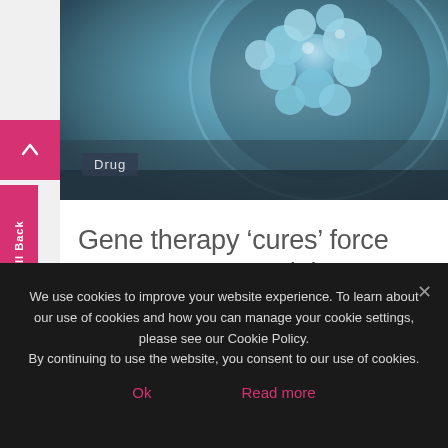[Figure (photo): Blue cell cluster / molecule on dark background, pharmaceutical/biomedical imagery]
Gene therapy ‘cures’ force new payment models
December, 28 2018   1260
Solving the scientific challenges around gene therapy took decades. Figuring out how to pay for these new
We use cookies to improve your website experience. To learn about our use of cookies and how you can manage your cookie settings, please see our Cookie Policy.
By continuing to use the website, you consent to our use of cookies.
Ok   Read more